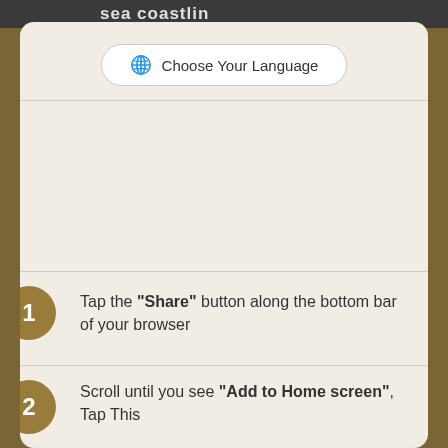sea coastlin
[Figure (screenshot): Language selector button with globe icon and text 'Choose Your Language' on a rounded pill-shaped white button]
Tap the "Share" button along the bottom bar of your browser
Scroll until you see "Add to Home screen", Tap This